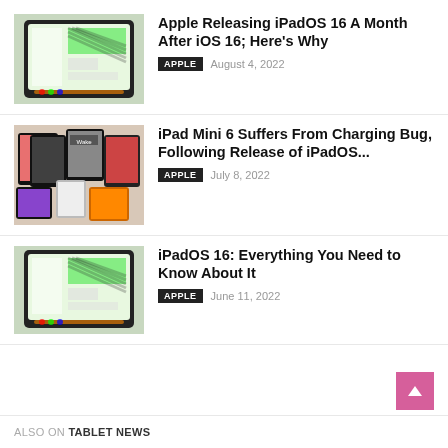[Figure (screenshot): iPad with iPadOS interface shown on screen]
Apple Releasing iPadOS 16 A Month After iOS 16; Here's Why
APPLE  August 4, 2022
[Figure (screenshot): Multiple iPad and tablet devices displayed]
iPad Mini 6 Suffers From Charging Bug, Following Release of iPadOS...
APPLE  July 8, 2022
[Figure (screenshot): iPad with iPadOS 16 interface shown on screen]
iPadOS 16: Everything You Need to Know About It
APPLE  June 11, 2022
ALSO ON TABLET NEWS